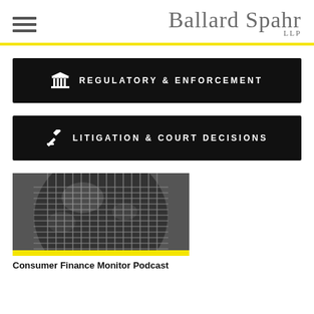Ballard Spahr LLP
REGULATORY & ENFORCEMENT
LITIGATION & COURT DECISIONS
[Figure (photo): Close-up black and white photo of a microphone mesh, with a yellow stripe at the bottom]
Consumer Finance Monitor Podcast